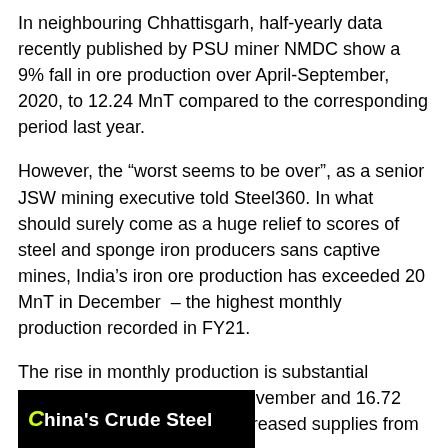In neighbouring Chhattisgarh, half-yearly data recently published by PSU miner NMDC show a 9% fall in ore production over April-September, 2020, to 12.24 MnT compared to the corresponding period last year.
However, the “worst seems to be over”, as a senior JSW mining executive told Steel360. In what should surely come as a huge relief to scores of steel and sponge iron producers sans captive mines, India's iron ore production has exceeded 20 MnT in December – the highest monthly production recorded in FY21.
The rise in monthly production is substantial compared to 18.36 MnT in November and 16.72 MnT in October, thanks to increased supplies from Odisha and Karnataka.
[Figure (other): Black banner with yellow-green letter C and white text reading 'hina’s Crude Steel']